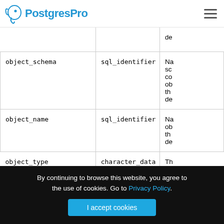PostgresPro
|  |  |  |
| --- | --- | --- |
| object_schema | sql_identifier | Na sc co ob th de |
| object_name | sql_identifier | Na ob th de |
| object_type | character_data | Th |
By continuing to browse this website, you agree to the use of cookies. Go to Privacy Policy. I accept cookies